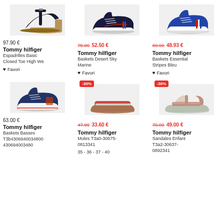[Figure (photo): Tommy Hilfiger black wedge espadrille sandal]
97.90 €
Tommy hilfiger
Espadrilles Basic Closed Toe High We
♥ Favori
[Figure (photo): Tommy Hilfiger navy blue low-top sneaker]
75.00 52.50 €
Tommy hilfiger
Baskets Desert Sky Marine
♥ Favori
[Figure (photo): Tommy Hilfiger blue essential stripes sneaker]
69.90 48.93 €
Tommy hilfiger
Baskets Essential Stripes Bleu
♥ Favori
[Figure (photo): Tommy Hilfiger navy blue low-top canvas sneaker]
63.00 €
Tommy hilfiger
Baskets Basses T3b4306940034800 430694003480
[Figure (photo): Tommy Hilfiger brown stripe slides/mules]
-30%
47.99 33.60 €
Tommy hilfiger
Mules T3a0-30675-0813341
35 - 36 - 37 - 40
[Figure (photo): Tommy Hilfiger rose gold metallic children's sandals]
-30%
70.00 49.00 €
Tommy hilfiger
Sandales Enfant T3a2-30637-0892341